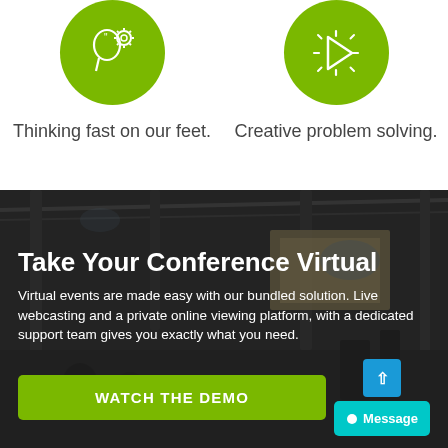[Figure (illustration): Green circle icon with a head/brain and gear symbol representing thinking]
Thinking fast on our feet.
[Figure (illustration): Green circle icon with a play button and creative problem-solving symbol]
Creative problem solving.
[Figure (photo): Dark conference/event venue with stage lighting and truss rigging as background]
Take Your Conference Virtual
Virtual events are made easy with our bundled solution. Live webcasting and a private online viewing platform, with a dedicated support team gives you exactly what you need.
WATCH THE DEMO
Message